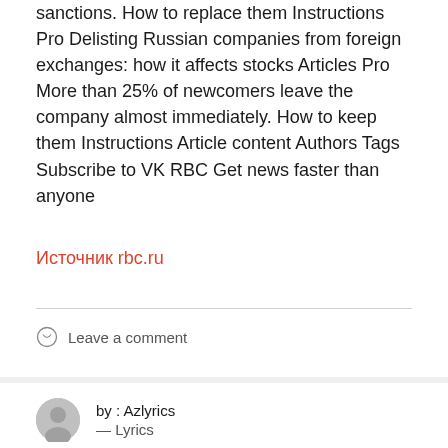sanctions. How to replace them Instructions Pro Delisting Russian companies from foreign exchanges: how it affects stocks Articles Pro More than 25% of newcomers leave the company almost immediately. How to keep them Instructions Article content Authors Tags Subscribe to VK RBC Get news faster than anyone
Источник rbc.ru
Leave a comment
by : Azlyrics — Lyrics